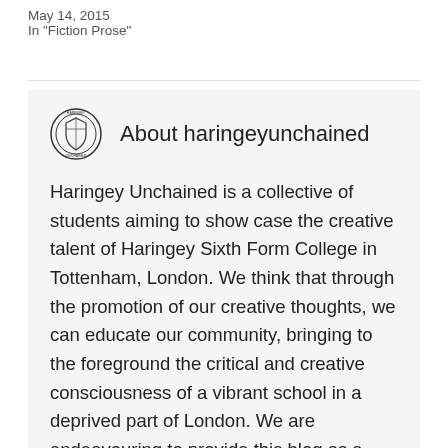May 14, 2015
In "Fiction Prose"
About haringeyunchained
Haringey Unchained is a collective of students aiming to show case the creative talent of Haringey Sixth Form College in Tottenham, London. We think that through the promotion of our creative thoughts, we can educate our community, bringing to the foreground the critical and creative consciousness of a vibrant school in a deprived part of London. We are endeavouring to provide this blog as a platform for our community, giving the space to those whose work otherwise might not be seen or read. Being that the cuffs are off, we